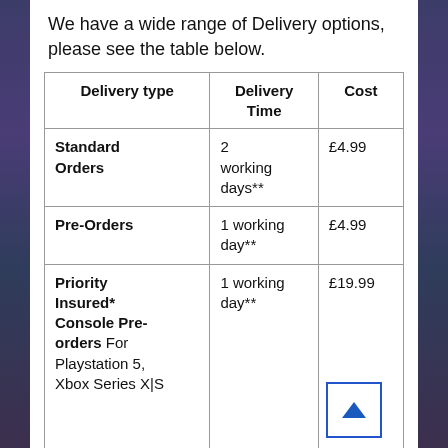We have a wide range of Delivery options, please see the table below.
| Delivery type | Delivery Time | Cost |
| --- | --- | --- |
| Standard Orders | 2 working days** | £4.99 |
| Pre-Orders | 1 working day** | £4.99 |
| Priority Insured* Console Pre-orders For Playstation 5, Xbox Series X|S | 1 working day** | £19.99 |